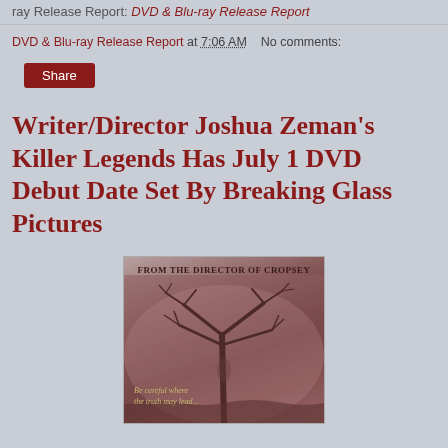ray Release Report: DVD & Blu-ray Release Report
DVD & Blu-ray Release Report at 7:06 AM   No comments:
Share
Writer/Director Joshua Zeman's Killer Legends Has July 1 DVD Debut Date Set By Breaking Glass Pictures
[Figure (photo): Movie cover for Killer Legends documentary. Shows a dark, foggy tree scene with bare branches. Text at top reads 'FROM THE DIRECTOR OF CROPSEY'. Text at bottom reads 'Be careful where the truth may lead...']